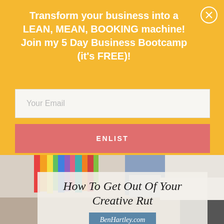Transform your business into a LEAN, MEAN, BOOKING machine! Join my 5 Day Business Bootcamp (it's FREE)!
Your Email
ENLIST
[Figure (photo): Person in jeans standing near colorful books/folders in a bright workspace]
How To Get Out Of Your Creative Rut
BenHartley.com